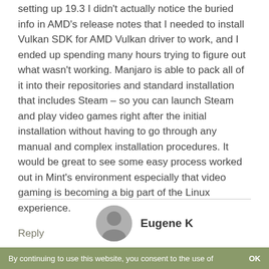setting up 19.3 I didn't actually notice the buried info in AMD's release notes that I needed to install Vulkan SDK for AMD Vulkan driver to work, and I ended up spending many hours trying to figure out what wasn't working. Manjaro is able to pack all of it into their repositories and standard installation that includes Steam – so you can launch Steam and play video games right after the initial installation without having to go through any manual and complex installation procedures. It would be great to see some easy process worked out in Mint's environment especially that video gaming is becoming a big part of the Linux experience.
Reply
Eugene K
By continuing to use this website, you consent to the use of   OK